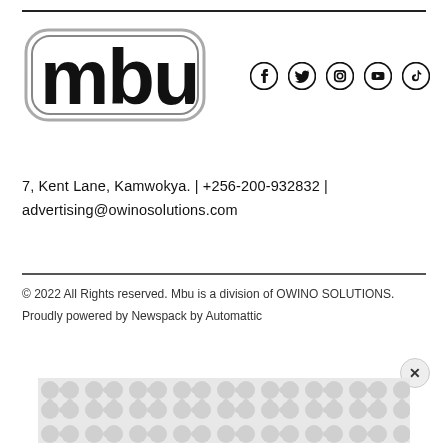[Figure (logo): MBU logo — stylized letters 'mbu' in bold rounded font with outline]
[Figure (infographic): Social media icons: Facebook, Twitter, Instagram, YouTube, TikTok]
7, Kent Lane, Kamwokya. | +256-200-932832 | advertising@owinosolutions.com
© 2022 All Rights reserved. Mbu is a division of OWINO SOLUTIONS.
Proudly powered by Newspack by Automattic
[Figure (other): Advertisement banner with decorative grey pattern]